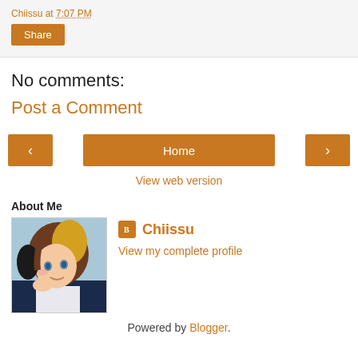Chiissu at 7:07 PM
Share
No comments:
Post a Comment
< Home >
View web version
About Me
[Figure (photo): Profile photo of Chiissu showing an animated character with brown and blonde hair]
Chiissu
View my complete profile
Powered by Blogger.